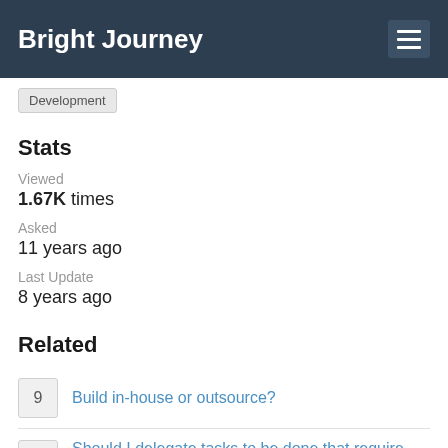Bright Journey
Development
Stats
Viewed
1.67K times
Asked
11 years ago
Last Update
8 years ago
Related
9  Build in-house or outsource?
0  Should I delegate tasks to be done that require knowledge I don't have, or learn it myself?